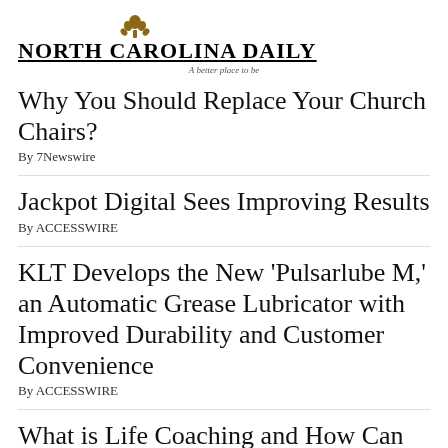NORTH CAROLINA DAILY — A better place to be
Why You Should Replace Your Church Chairs?
By 7Newswire
Jackpot Digital Sees Improving Results
By ACCESSWIRE
KLT Develops the New 'Pulsarlube M,' an Automatic Grease Lubricator with Improved Durability and Customer Convenience
By ACCESSWIRE
What is Life Coaching and How Can You